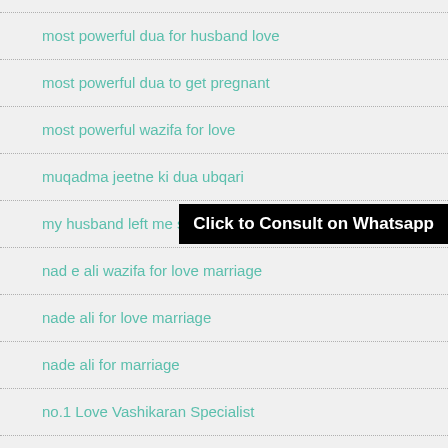most powerful dua for husband love
most powerful dua to get pregnant
most powerful wazifa for love
muqadma jeetne ki dua ubqari
my husband left me should i do something
nad e ali wazifa for love marriage
nade ali for love marriage
nade ali for marriage
no.1 Love Vashikaran Specialist
no.1 Love Vashikaran Specialist Maulana ji